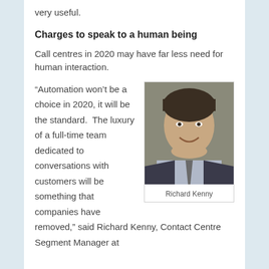very useful.
Charges to speak to a human being
Call centres in 2020 may have far less need for human interaction.
“Automation won’t be a choice in 2020, it will be the standard.  The luxury of a full-time team dedicated to conversations with customers will be something that companies have removed,” said Richard Kenny, Contact Centre Segment Manager at
[Figure (photo): Headshot photo of Richard Kenny, a man in a suit smiling at the camera]
Richard Kenny